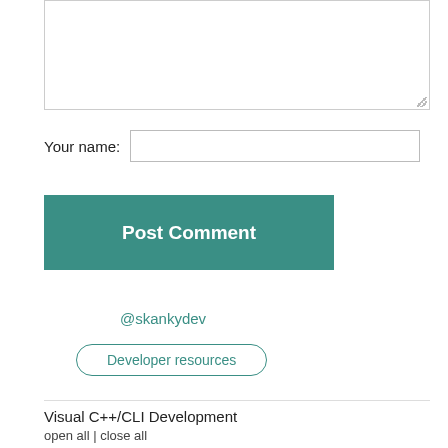[Figure (screenshot): A textarea input box (empty, resizable)]
Your name:
[Figure (screenshot): A text input field for user name]
[Figure (screenshot): A teal 'Post Comment' button]
@skankydev
[Figure (screenshot): A rounded 'Developer resources' button with teal border]
Visual C++/CLI Development
open all | close all
.Projects General
.Visual Studio Versions of C++
Application Control